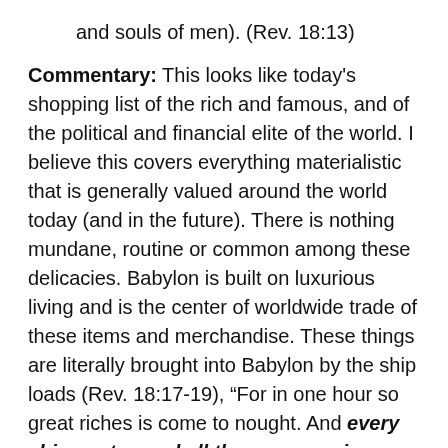and souls of men). (Rev. 18:13)
Commentary: This looks like today's shopping list of the rich and famous, and of the political and financial elite of the world. I believe this covers everything materialistic that is generally valued around the world today (and in the future). There is nothing mundane, routine or common among these delicacies. Babylon is built on luxurious living and is the center of worldwide trade of these items and merchandise. These things are literally brought into Babylon by the ship loads (Rev. 18:17-19), “For in one hour so great riches is come to nought. And every shipmaster, and all the company in ships, and sailors, and as many as trade by sea, stood afar off.” (Empahsis added). These items are considered luxurious because they are extremely expensive! (Rev. 18:19, “the great city was made rich by all the